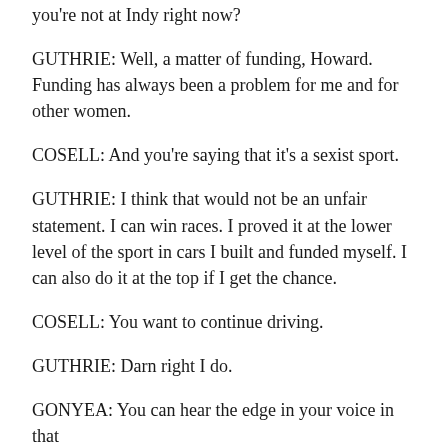you're not at Indy right now?
GUTHRIE: Well, a matter of funding, Howard. Funding has always been a problem for me and for other women.
COSELL: And you're saying that it's a sexist sport.
GUTHRIE: I think that would not be an unfair statement. I can win races. I proved it at the lower level of the sport in cars I built and funded myself. I can also do it at the top if I get the chance.
COSELL: You want to continue driving.
GUTHRIE: Darn right I do.
GONYEA: You can hear the edge in your voice in that